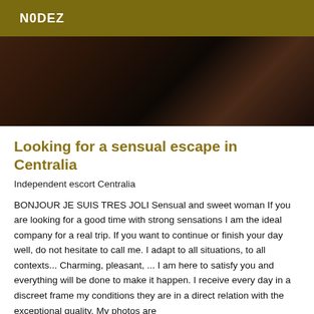N0DEZ
[Figure (photo): Partially visible dark-toned photograph with shadowed subject, cropped at the top of the content section]
Looking for a sensual escape in Centralia
Independent escort Centralia
BONJOUR JE SUIS TRES JOLI Sensual and sweet woman If you are looking for a good time with strong sensations I am the ideal company for a real trip. If you want to continue or finish your day well, do not hesitate to call me. I adapt to all situations, to all contexts... Charming, pleasant, ... I am here to satisfy you and everything will be done to make it happen. I receive every day in a discreet frame my conditions they are in a direct relation with the exceptional quality. My photos are